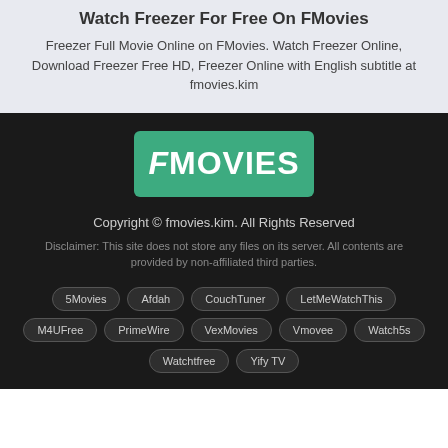Watch Freezer For Free On FMovies
Freezer Full Movie Online on FMovies. Watch Freezer Online, Download Freezer Free HD, Freezer Online with English subtitle at fmovies.kim
[Figure (logo): FMovies logo — green rectangle with white bold italic text FMOVIES]
Copyright © fmovies.kim. All Rights Reserved
Disclaimer: This site does not store any files on its server. All contents are provided by non-affiliated third parties.
5Movies
Afdah
CouchTuner
LetMeWatchThis
M4UFree
PrimeWire
VexMovies
Vmovee
Watch5s
Watchtfree
Yify TV